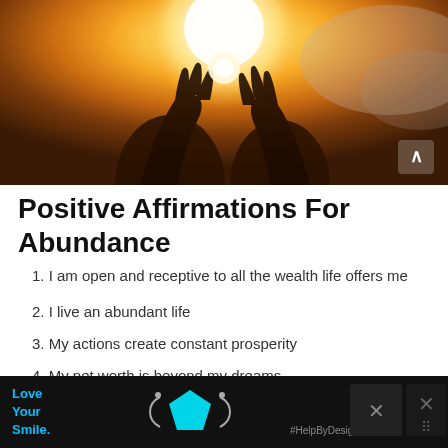[Figure (photo): A person holding a glowing orb or globe up toward a bright sunburst sky, silhouetted hands against warm golden orange light with soft cloudy background]
Positive Affirmations For Abundance
1. I am open and receptive to all the wealth life offers me
2. I live an abundant life
3. My actions create constant prosperity
4. My net worth is beyond my dreams
5. Money expands my opportunities and experiences
6. I am open to receiving limitless abundance
[Figure (advertisement): Black advertisement bar at the bottom with 'Love Your Smile.' in blue text, a teal pentagon/mask icon, #HelpByDesign hashtag, and close buttons]